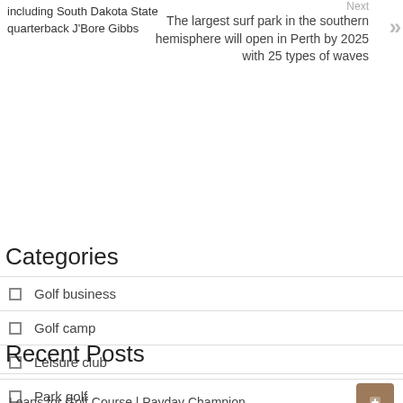including South Dakota State quarterback J'Bore Gibbs
Next
The largest surf park in the southern hemisphere will open in Perth by 2025 with 25 types of waves
Categories
Golf business
Golf camp
Leisure club
Park golf
Parkland
Recent Posts
Loans for Golf Course | Payday Champion
Celebrating the Life of Carl Sam Maggio – Produce Blue Book